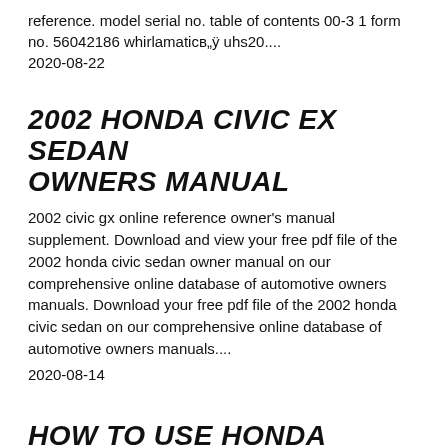reference. model serial no. table of contents 00-3 1 form no. 56042186 whirlamaticв„ÿ uhs20.... 2020-08-22
2002 HONDA CIVIC EX SEDAN OWNERS MANUAL
2002 civic gx online reference owner's manual supplement. Download and view your free pdf file of the 2002 honda civic sedan owner manual on our comprehensive online database of automotive owners manuals. Download your free pdf file of the 2002 honda civic sedan on our comprehensive online database of automotive owners manuals....
2020-08-14
HOW TO USE HONDA ACCORD